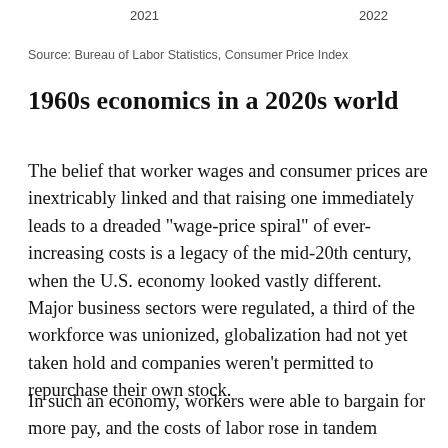2021   2022
Source: Bureau of Labor Statistics, Consumer Price Index
1960s economics in a 2020s world
The belief that worker wages and consumer prices are inextricably linked and that raising one immediately leads to a dreaded "wage-price spiral" of ever-increasing costs is a legacy of the mid-20th century, when the U.S. economy looked vastly different. Major business sectors were regulated, a third of the workforce was unionized, globalization had not yet taken hold and companies weren't permitted to repurchase their own stock.
In such an economy, workers were able to bargain for more pay, and the costs of labor rose in tandem